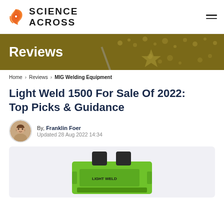[Figure (logo): Science Across logo with orange swirl icon and bold uppercase text]
Reviews
Home > Reviews > MIG Welding Equipment
Light Weld 1500 For Sale Of 2022: Top Picks & Guidance
By, Franklin Foer
Updated 28 Aug 2022 14:34
[Figure (photo): Green LightWeld 1500 laser welding machine on a white/light gray background]